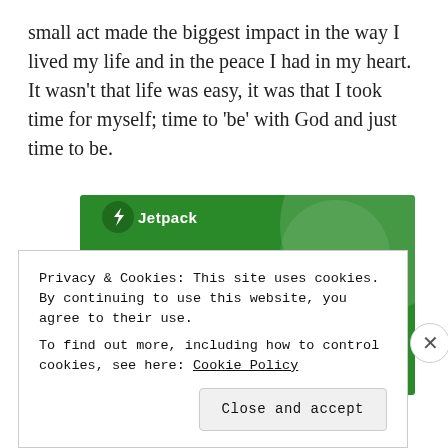small act made the biggest impact in the way I lived my life and in the peace I had in my heart. It wasn't that life was easy, it was that I took time for myself; time to 'be' with God and just time to be.
[Figure (screenshot): Jetpack advertisement banner with green background showing 'The best real-time WordPress backup plugin' with Jetpack logo at top]
Privacy & Cookies: This site uses cookies. By continuing to use this website, you agree to their use.
To find out more, including how to control cookies, see here: Cookie Policy
Close and accept